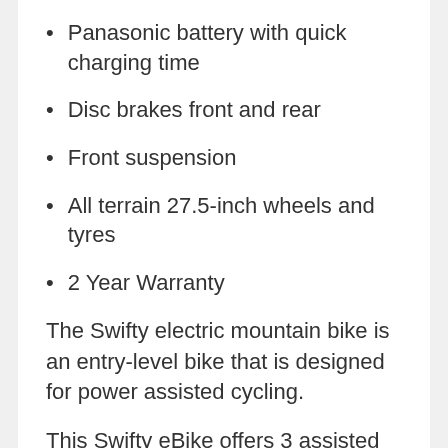Panasonic battery with quick charging time
Disc brakes front and rear
Front suspension
All terrain 27.5-inch wheels and tyres
2 Year Warranty
The Swifty electric mountain bike is an entry-level bike that is designed for power assisted cycling.
This Swifty eBike offers 3 assisted cycling modes plus a low-speed walking assisted mode. The eBike...